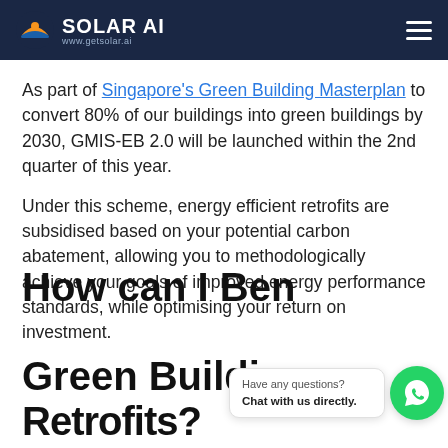SOLAR AI | www.getsolar.ai
As part of Singapore's Green Building Masterplan to convert 80% of our buildings into green buildings by 2030, GMIS-EB 2.0 will be launched within the 2nd quarter of this year.
Under this scheme, energy efficient retrofits are subsidised based on your potential carbon abatement, allowing you to methodologically achieve your goals of improved energy performance standards, while optimising your return on investment.
How can I Benefit from Green Building Retrofits?
Have any questions? Chat with us directly.